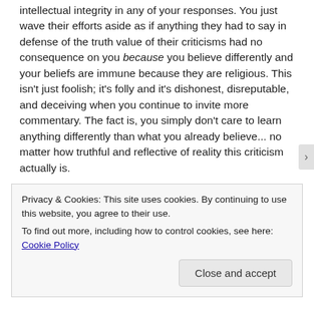intellectual integrity in any of your responses. You just wave their efforts aside as if anything they had to say in defense of the truth value of their criticisms had no consequence on you because you believe differently and your beliefs are immune because they are religious. This isn't just foolish; it's folly and it's dishonest, disreputable, and deceiving when you continue to invite more commentary. The fact is, you simply don't care to learn anything differently than what you already believe... no matter how truthful and reflective of reality this criticism actually is.
And you wonder why you are then held in such deserved contempt by others who do care about what's true, about
Privacy & Cookies: This site uses cookies. By continuing to use this website, you agree to their use.
To find out more, including how to control cookies, see here: Cookie Policy
Close and accept